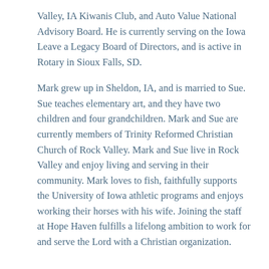Valley, IA Kiwanis Club, and Auto Value National Advisory Board. He is currently serving on the Iowa Leave a Legacy Board of Directors, and is active in Rotary in Sioux Falls, SD.
Mark grew up in Sheldon, IA, and is married to Sue. Sue teaches elementary art, and they have two children and four grandchildren. Mark and Sue are currently members of Trinity Reformed Christian Church of Rock Valley. Mark and Sue live in Rock Valley and enjoy living and serving in their community. Mark loves to fish, faithfully supports the University of Iowa athletic programs and enjoys working their horses with his wife. Joining the staff at Hope Haven fulfills a lifelong ambition to work for and serve the Lord with a Christian organization.
Contact Mark
Name *